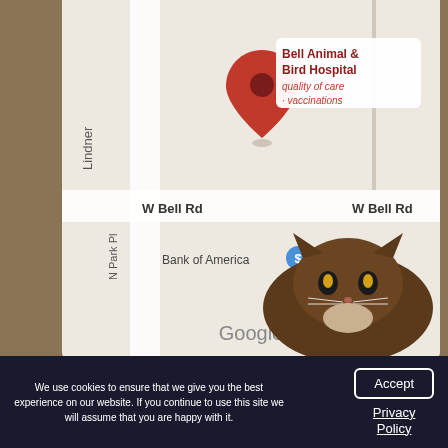[Figure (map): Google Maps screenshot showing Bell Animal & Bird Hospital location pin with label 'Bell Animal & Bird Hospital quality of care · vaccinations', showing W Bell Rd, N Park Pl, Bank of America, and Google branding]
MON, WED, FRI: 7AM – 6PM
TUES & THURS: 7AM – 7PM
SAT: 9AM – 1PM
[Figure (logo): Facebook icon (blue square with white 'f') and Twitter icon (blue square with white bird 't' logo)]
[Figure (photo): Photo of a cat (dark brown/tabby) looking upward, partially visible at bottom right]
We use cookies to ensure that we give you the best experience on our website. If you continue to use this site we will assume that you are happy with it.
Accept
Privacy Policy